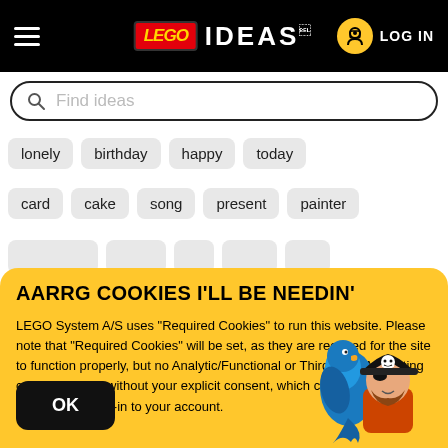LEGO IDEAS LOG IN
Find ideas
lonely   birthday   happy   today
card   cake   song   present   painter
AARRG COOKIES I'LL BE NEEDIN'
LEGO System A/S uses "Required Cookies" to run this website. Please note that "Required Cookies" will be set, as they are required for the site to function properly, but no Analytic/Functional or Third Party/Marketing cookies are set without your explicit consent, which can be set when you create or log-in to your account.
OK
[Figure (illustration): LEGO pirate minifigure with a blue parrot, wearing a black pirate hat with skull and crossbones]